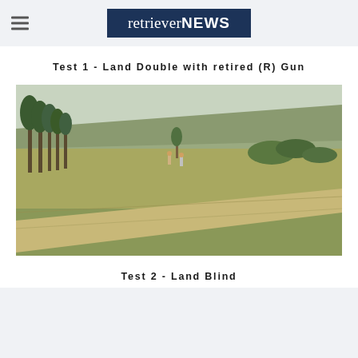retrieverNEWS
Test 1 - Land Double with retired (R) Gun
[Figure (photo): Outdoor field photograph showing a grassy landscape with trees on the left side, a hillside in the background, and a dirt path curving through the field. The terrain appears to be an open area used for retriever dog field trials.]
Test 2 - Land Blind